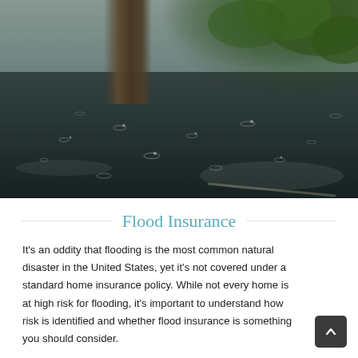[Figure (photo): Close-up ground-level photograph of heavy rain falling on a wet road/flooded surface with a tree trunk visible in the background and green foliage in the upper right. The perspective is extremely low, showing rain ripples on the dark wet pavement.]
Flood Insurance
It's an oddity that flooding is the most common natural disaster in the United States, yet it's not covered under a standard home insurance policy. While not every home is at high risk for flooding, it's important to understand how risk is identified and whether flood insurance is something you should consider.